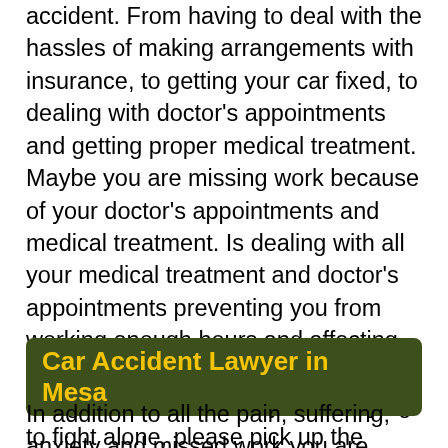accident. From having to deal with the hassles of making arrangements with insurance, to getting your car fixed, to dealing with doctor's appointments and getting proper medical treatment. Maybe you are missing work because of your doctor's appointments and medical treatment. Is dealing with all your medical treatment and doctor's appointments preventing you from working enough hours and affecting your income and ability to earn a living? If this is a battle you are trying to fight alone, please pick up the phone and call experienced car accident attorneys in Mesa. The Law Offices of Byrl Lane, Esq. can get you immediate medical treatment and get you on track to recovering lost wages and the financial settlement you deserve for injuries and pain and suffering you have endured during this difficult time.
Car Accident Lawyer in Mesa
In addition to all the pain, suffering, anxiety and missed work you are probably experiencing. You are probably